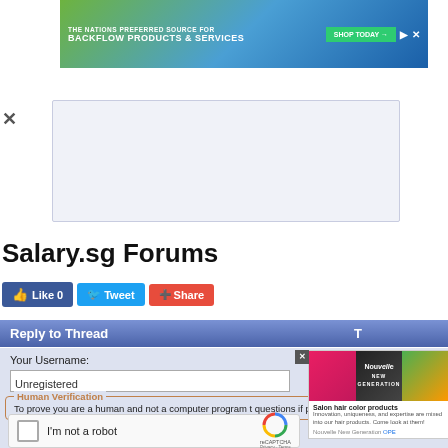[Figure (screenshot): Advertisement banner for backflow products and services with green/blue gradient background, 'THE NATIONS PREFERRED SOURCE FOR BACKFLOW PRODUCTS & SERVICES' text, shop today button]
[Figure (screenshot): White/light blue rectangular ad placeholder box with close X button on left]
Salary.sg Forums
[Figure (screenshot): Social sharing buttons: Like 0 (Facebook blue), Tweet (Twitter blue), Share (red)]
Reply to Thread
Your Username:
Unregistered
Human Verification
To prove you are a human and not a computer program t questions if prompted.
[Figure (screenshot): reCAPTCHA widget with checkbox 'I'm not a robot' and reCAPTCHA logo, Privacy - Terms links]
[Figure (screenshot): Ad overlay showing salon hair color products with colorful hair images, Nouvelle New Generation brand]